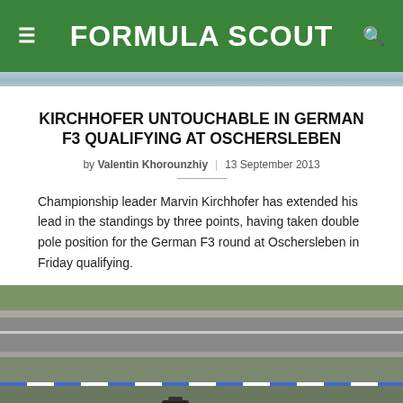FORMULA SCOUT
[Figure (photo): Top strip of racing/track image cropped at header]
KIRCHHOFER UNTOUCHABLE IN GERMAN F3 QUALIFYING AT OSCHERSLEBEN
by Valentin Khorounzhiy | 13 September 2013
Championship leader Marvin Kirchhofer has extended his lead in the standings by three points, having taken double pole position for the German F3 round at Oschersleben in Friday qualifying.
[Figure (photo): Aerial/overhead view of a racing circuit at Oschersleben showing track surface, grass areas and barriers]